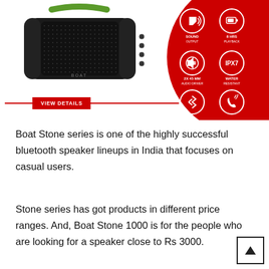[Figure (photo): boAt Stone bluetooth speaker product image on white background with green handle, black body, and a red circular infographic showing features: Sound Output, 8 Hrs Playback, 2x 45mm Audio Driver, IPX7 Water Resistant, Bluetooth V4.2, Hands Free Calling. A 'VIEW DETAILS' red button with lines on either side is shown below the speaker.]
Boat Stone series is one of the highly successful bluetooth speaker lineups in India that focuses on casual users.
Stone series has got products in different price ranges. And, Boat Stone 1000 is for the people who are looking for a speaker close to Rs 3000.